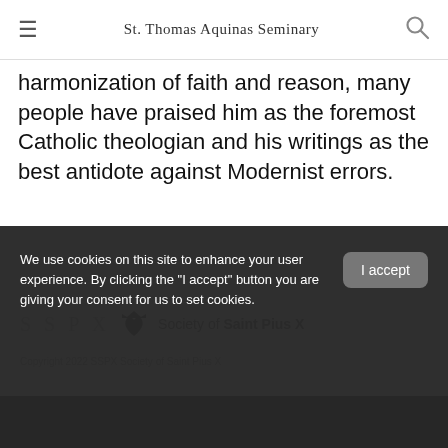St. Thomas Aquinas Seminary
harmonization of faith and reason, many people have praised him as the foremost Catholic theologian and his writings as the best antidote against Modernist errors.
[Figure (logo): SSPX Society of Saint Pius X logo with crown-heart emblem]
Copyright 2022 SSPX Society of Saint Pius X
FAQ
We use cookies on this site to enhance your user experience. By clicking the "I accept" button you are giving your consent for us to set cookies.